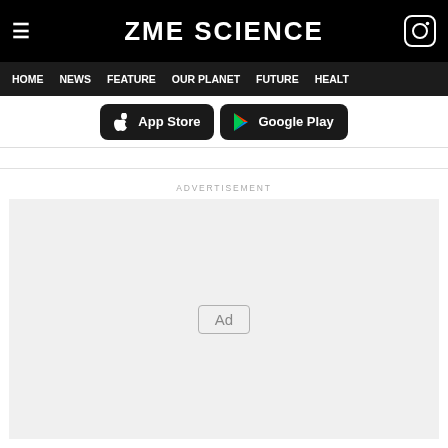ZME SCIENCE
HOME  NEWS  FEATURE  OUR PLANET  FUTURE  HEALT
[Figure (screenshot): App Store and Google Play download buttons on dark background]
ADVERTISEMENT
[Figure (other): Advertisement placeholder box with 'Ad' label in center]